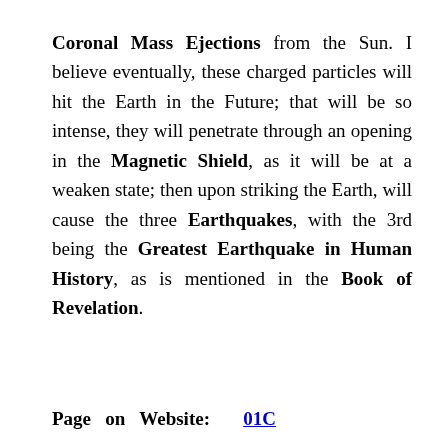Coronal Mass Ejections from the Sun. I believe eventually, these charged particles will hit the Earth in the Future; that will be so intense, they will penetrate through an opening in the Magnetic Shield, as it will be at a weaken state; then upon striking the Earth, will cause the three Earthquakes, with the 3rd being the Greatest Earthquake in Human History, as is mentioned in the Book of Revelation.
Page on Website: 01C